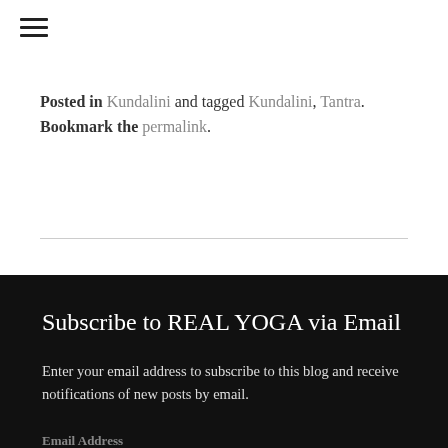≡
Posted in Kundalini and tagged Kundalini, Tantra. Bookmark the permalink.
Subscribe to REAL YOGA via Email
Enter your email address to subscribe to this blog and receive notifications of new posts by email.
Email Address
Subscribe